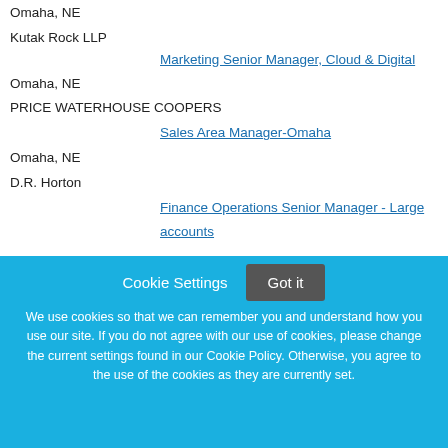Omaha, NE
Kutak Rock LLP
Marketing Senior Manager, Cloud & Digital
Omaha, NE
PRICE WATERHOUSE COOPERS
Sales Area Manager-Omaha
Omaha, NE
D.R. Horton
Finance Operations Senior Manager - Large accounts
Cookie Settings
Got it
We use cookies so that we can remember you and understand how you use our site. If you do not agree with our use of cookies, please change the current settings found in our Cookie Policy. Otherwise, you agree to the use of the cookies as they are currently set.